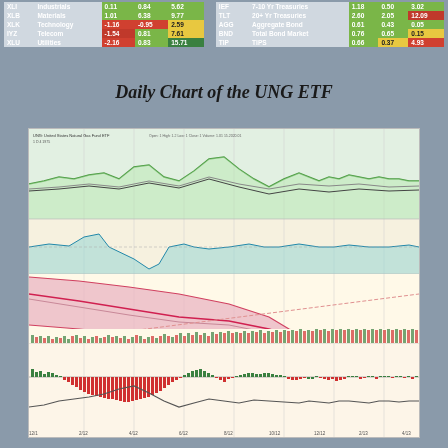|  | Name | Col1 | Col2 | Col3 |  | Name | Col1 | Col2 | Col3 |
| --- | --- | --- | --- | --- | --- | --- | --- | --- | --- |
| XLI | Industrials | 0.11 | 0.84 | 5.62 | IEF | 7-10 Yr Treasuries | 1.18 | 0.50 | 3.02 |
| XLB | Materials | 1.01 | 6.38 | 9.77 | TLT | 20+ Yr Treasuries | 2.60 | 2.05 | 12.09 |
| XLK | Technology | -1.16 | -0.95 | 2.59 | AGG | Aggregate Bond | 0.61 | 0.43 | 0.05 |
| IYZ | Telecom | -1.54 | 0.81 | 7.61 | BND | Total Bond Market | 0.76 | 0.65 | 0.15 |
| XLU | Utilities | -2.16 | 0.83 | 15.71 | TIP | TIPS | 0.66 | 0.37 | 4.93 |
Daily Chart of the UNG ETF
[Figure (continuous-plot): Daily candlestick/line chart of the UNG ETF (United States Natural Gas Fund) showing price history with moving averages (pink/red Bollinger Band envelope), a momentum oscillator panel in the middle (teal/blue area), and a MACD histogram at the bottom (green/red bars) with a signal line. The price chart shows a long downtrend from left to right with a large pink/red Bollinger Band channel declining steeply.]